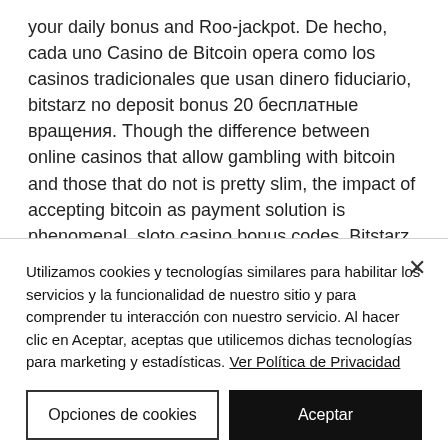your daily bonus and Roo-jackpot. De hecho, cada uno Casino de Bitcoin opera como los casinos tradicionales que usan dinero fiduciario, bitstarz no deposit bonus 20 бесплатные вращения. Though the difference between online casinos that allow gambling with bitcoin and those that do not is pretty slim, the impact of accepting bitcoin as payment solution is phenomenal, sloto casino bonus codes. Bitstarz casino bonus codes ➤ exclusive 30 no deposit free spins ✓ €500 match bonus. No deposit free spins
Utilizamos cookies y tecnologías similares para habilitar los servicios y la funcionalidad de nuestro sitio y para comprender tu interacción con nuestro servicio. Al hacer clic en Aceptar, aceptas que utilicemos dichas tecnologías para marketing y estadísticas. Ver Política de Privacidad